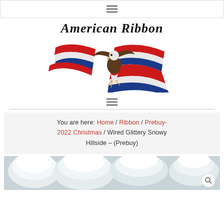≡ (hamburger menu icon)
[Figure (logo): American Ribbon logo with bald eagle and red/white/blue ribbons, italic script text 'American Ribbon']
≡ (hamburger menu icon)
You are here: Home / Ribbon / Prebuy-2022 Christmas / Wired Glittery Snowy Hillside – (Prebuy)
[Figure (photo): White glittery snowy hillside ribbon product image, partially visible at bottom of page]